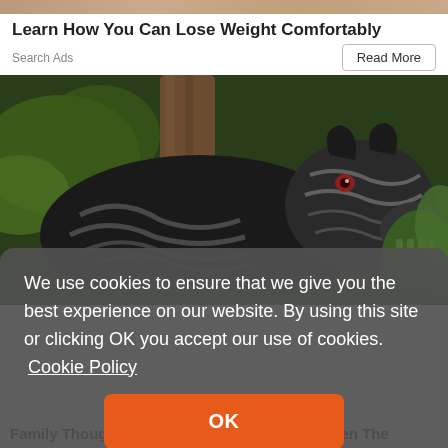[Figure (photo): Partial top strip of an advertisement image, cropped at the top of the page]
Learn How You Can Lose Weight Comfortably
Search Ads
Read More
[Figure (photo): Two large black Cane Corso dogs with tiger-stripe brindle markings, standing outdoors near a tree with green foliage in the background. One dog has its mouth open showing teeth.]
We use cookies to ensure that we give you the best experience on our website. By using this site or clicking OK you accept our use of cookies.  Cookie Policy
OK
Family Thought They Adopted A 'Dog', But When The